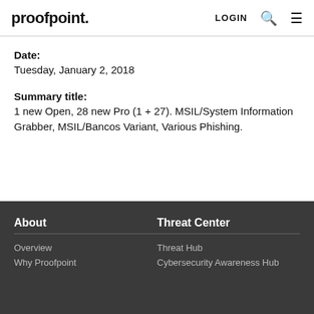proofpoint. LOGIN
Date:
Tuesday, January 2, 2018
Summary title:
1 new Open, 28 new Pro (1 + 27). MSIL/System Information Grabber, MSIL/Bancos Variant, Various Phishing.
About
Overview
Why Proofpoint

Threat Center
Threat Hub
Cybersecurity Awareness Hub